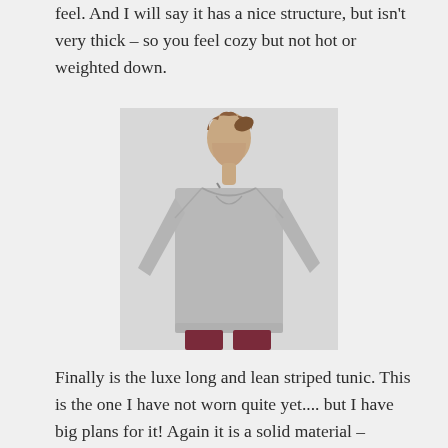feel. And I will say it has a nice structure, but isn't very thick – so you feel cozy but not hot or weighted down.
[Figure (photo): A woman wearing a grey heather long sweatshirt tunic with raglan sleeves, paired with dark burgundy/maroon leggings. She has her hair pulled back and is looking slightly to the side. The background is white/light grey.]
Finally is the luxe long and lean striped tunic. This is the one I have not worn quite yet.... but I have big plans for it! Again it is a solid material – doesn't feel see through or cheap – but its not